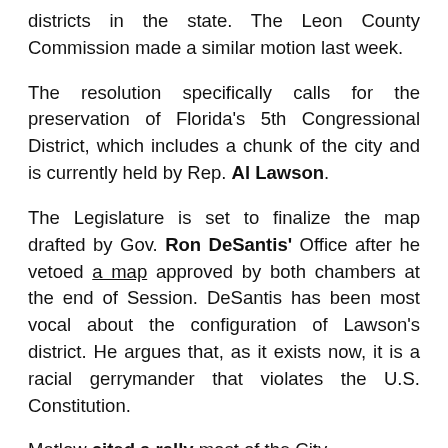districts in the state. The Leon County Commission made a similar motion last week.
The resolution specifically calls for the preservation of Florida's 5th Congressional District, which includes a chunk of the city and is currently held by Rep. Al Lawson.
The Legislature is set to finalize the map drafted by Gov. Ron DeSantis' Office after he vetoed a map approved by both chambers at the end of Session. DeSantis has been most vocal about the configuration of Lawson's district. He argues that, as it exists now, it is a racial gerrymander that violates the U.S. Constitution.
Matlow cited a rally most of the City